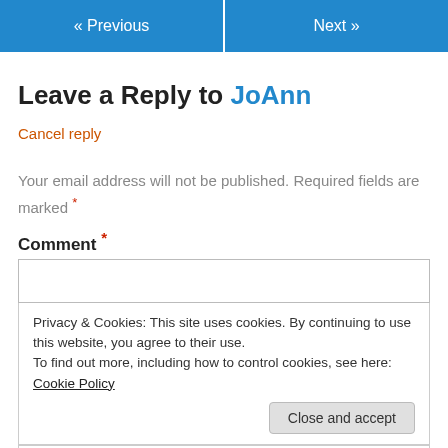« Previous   Next »
Leave a Reply to JoAnn
Cancel reply
Your email address will not be published. Required fields are marked *
Comment *
Privacy & Cookies: This site uses cookies. By continuing to use this website, you agree to their use. To find out more, including how to control cookies, see here: Cookie Policy
Close and accept